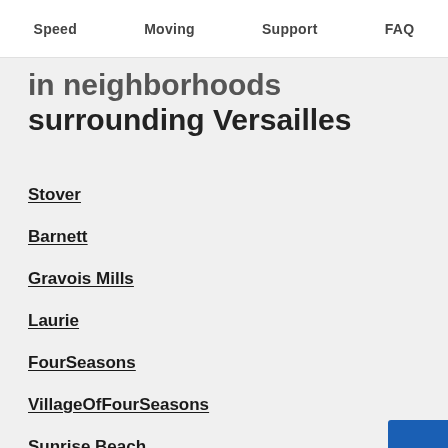Speed  Moving  Support  FAQ
in neighborhoods surrounding Versailles
Stover
Barnett
Gravois Mills
Laurie
FourSeasons
VillageOfFourSeasons
Sunrise Beach
Eldon